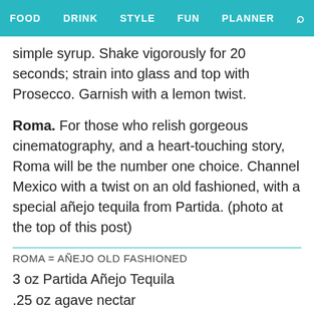FOOD  DRINK  STYLE  FUN  PLANNER  🔍
simple syrup. Shake vigorously for 20 seconds; strain into glass and top with Prosecco. Garnish with a lemon twist.
Roma. For those who relish gorgeous cinematography, and a heart-touching story, Roma will be the number one choice. Channel Mexico with a twist on an old fashioned, with a special añejo tequila from Partida. (photo at the top of this post)
ROMA = AÑEJO OLD FASHIONED
3 oz Partida Añejo Tequila
.25 oz agave nectar
1 dash angostura bitters
1 orange peel